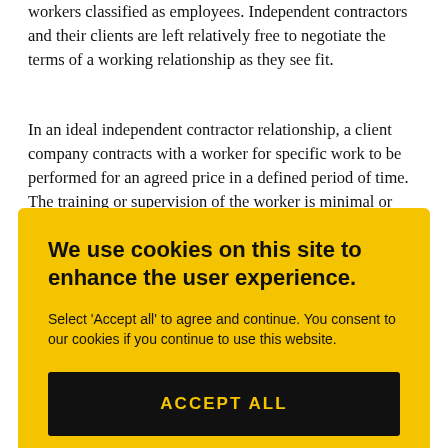workers classified as employees. Independent contractors and their clients are left relatively free to negotiate the terms of a working relationship as they see fit.
In an ideal independent contractor relationship, a client company contracts with a worker for specific work to be performed for an agreed price in a defined period of time. The training or supervision of the worker is minimal or incidental, in view that
[Figure (screenshot): Cookie consent overlay with yellow background. Title: 'We use cookies on this site to enhance the user experience.' Body text: 'Select Accept all to agree and continue. You consent to our cookies if you continue to use this website.' Black button with yellow text: 'ACCEPT ALL']
you will typically be paid a gross amount and you will be